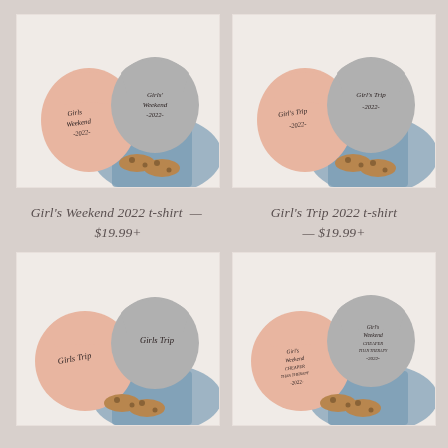[Figure (photo): Two t-shirts (peach and gray) with 'Girls Weekend 2022' script text, displayed with jeans and leopard print shoes]
[Figure (photo): Two t-shirts (peach and gray) with 'Girls Trip 2022' script text, displayed with jeans and leopard print shoes]
Girl's Weekend 2022 t-shirt — $19.99+
Girl's Trip 2022 t-shirt — $19.99+
[Figure (photo): Two t-shirts (peach and gray) with 'Girls Trip' script text, displayed with jeans and leopard print shoes]
[Figure (photo): Two t-shirts (peach and gray) with 'Girl's Weekend Cheaper Than Therapy 2022' script text, displayed with jeans and leopard print shoes]